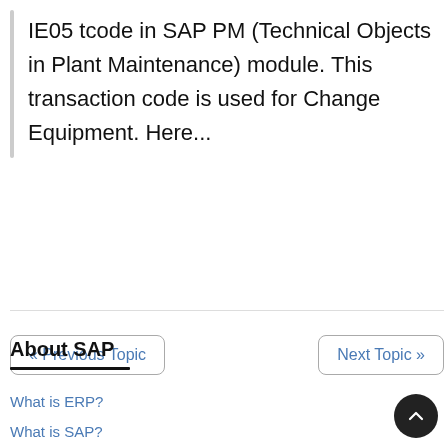IE05 tcode in SAP PM (Technical Objects in Plant Maintenance) module. This transaction code is used for Change Equipment. Here...
« Previous Topic
Next Topic »
About SAP
What is ERP?
What is SAP?
ERP vs CRM vs SAP
SAP Certification Help & Details